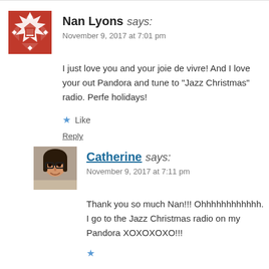[Figure (photo): Red and white decorative geometric pattern avatar for Nan Lyons]
Nan Lyons says:
November 9, 2017 at 7:01 pm
I just love you and your joie de vivre! And I love your out Pandora and tune to "Jazz Christmas" radio. Perfe holidays!
Like
Reply
[Figure (photo): Profile photo of Catherine, a woman with glasses and dark hair]
Catherine says:
November 9, 2017 at 7:11 pm
Thank you so much Nan!!! Ohhhhhhhhhhhh. I go to the Jazz Christmas radio on my Pandora XOXOXOXO!!!